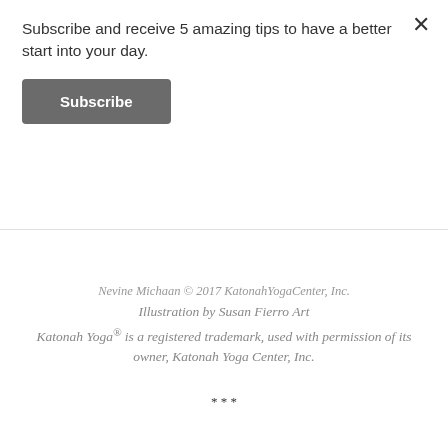Subscribe and receive 5 amazing tips to have a better start into your day.
Subscribe
Nevine Michaan © 2017 KatonahYogaCenter, Inc.
Illustration by Susan Fierro Art
Katonah Yoga® is a registered trademark, used with permission of its owner, Katonah Yoga Center, Inc.
* * *
Interested in a private session? Lots of options available, please email me or check out the website for a studio close to you
* * *